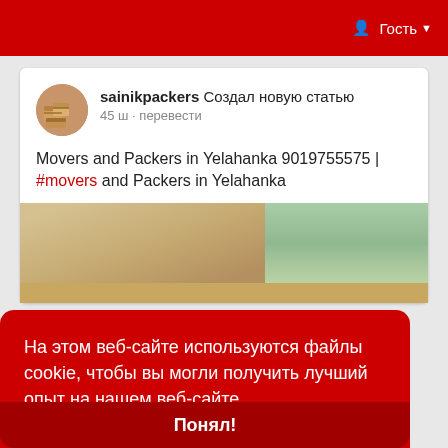Гость
sainikpackers Создал новую статью
45 ш - перевести
Movers and Packers in Yelahanka 9019755575 | #movers and Packers in Yelahanka
[Figure (photo): Photo of moving boxes stacked near a window with green view outside]
На этом веб-сайте используются файлы cookie, чтобы вы могли получить лучший опыт на нашем веб-сайте.
Выучить больше
Понял!